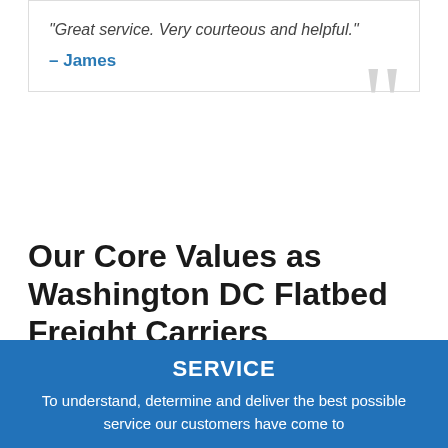“Great service. Very courteous and helpful.”
– James
Our Core Values as Washington DC Flatbed Freight Carriers
At American Freight Inc, we strive to provide the best flatbed trucking experience in Washington DC. Our values help us to stay among the most trustworthy Washington DC flatbed trucking companies.
SERVICE
To understand, determine and deliver the best possible service our customers have come to